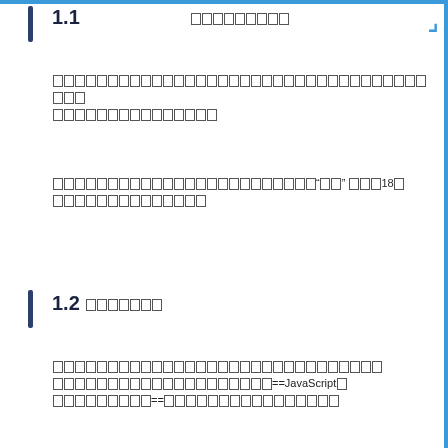1.1 小節标题（中文）
正文内容正文内容正文内容正文内容正文内容正文内容正文内容正文内容正文内容正文内容正文内容正文内容正文内容
正文内容正文内容正文内容“引用” 内容 18字正文内容正文内容
1.2 小節标题
正文内容正文内容正文内容正文内容正文内容正文内容==JavaScript内容正文内容==正文内容正文内容正文内容正文内容